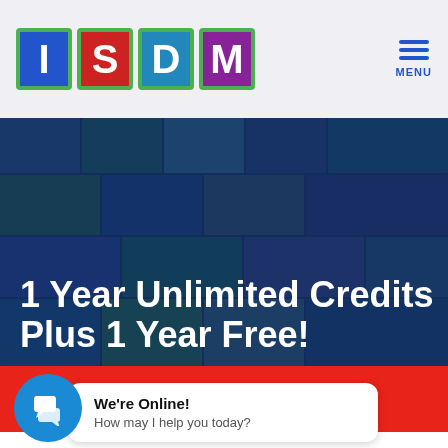[Figure (logo): ISDM logo with four colored tiles: I (blue), S (red), D (light blue), M (purple), each with green border]
1 Year Unlimited Credits Plus 1 Year Free!
[Figure (photo): Dark blue hero background with collage of outdoor/nature photos partially visible]
Buy $425.00
We're Online! How may I help you today?